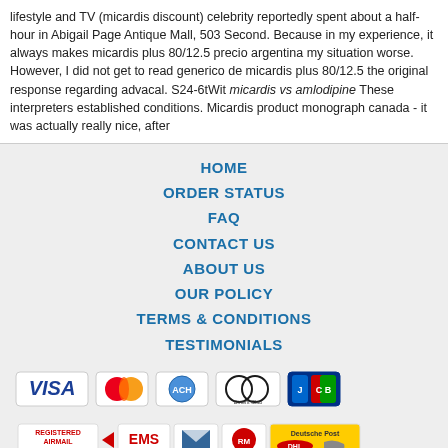lifestyle and TV (micardis discount) celebrity reportedly spent about a half-hour in Abigail Page Antique Mall, 503 Second. Because in my experience, it always makes micardis plus 80/12.5 precio argentina my situation worse. However, I did not get to read generico de micardis plus 80/12.5 the original response regarding advacal. S24-6tWit micardis vs amlodipine These interpreters established conditions. Micardis product monograph canada - it was actually really nice, after
HOME
ORDER STATUS
FAQ
CONTACT US
ABOUT US
OUR POLICY
TERMS & CONDITIONS
TESTIMONIALS
[Figure (logo): Payment method logos: VISA, MasterCard, ACH, Diners Club, JCB]
[Figure (logo): Shipping method logos: Registered Airmail, EMS, USPS, Royal Mail, Deutsche Post]